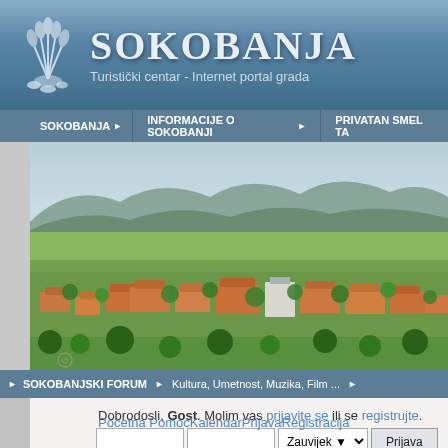[Figure (logo): Sokobanja website header with logo (stylized wheat/leaves icon) and title text SOKOBANJA, subtitle Turistički centar - Internet portal grada]
SOKOBANJA | INFORMACIJE O SOKOBANJI | PRIVATAN SMEL TA
[Figure (photo): Aerial panoramic photograph of Sokobanja town showing red-roofed buildings, green trees, and mountains in the background]
SOKOBANJSKI FORUM | Kultura, Umetnost, Muzika, Film ...
Dobrodosli, Gost. Molim vas prijavite se ili se registrujte.
Prijavite se korisnickim imenom, lozinkom i duzinom sesije
Pocetna PomocKalendarPrijavaRegistracija